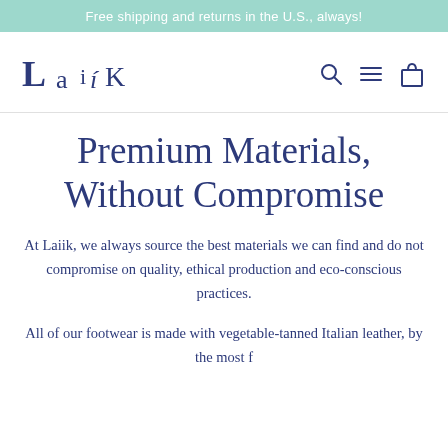Free shipping and returns in the U.S., always!
[Figure (logo): Laiik brand logo in dark blue serif/italic lettering]
Premium Materials, Without Compromise
At Laiik, we always source the best materials we can find and do not compromise on quality, ethical production and eco-conscious practices.
All of our footwear is made with vegetable-tanned Italian leather, by the most f